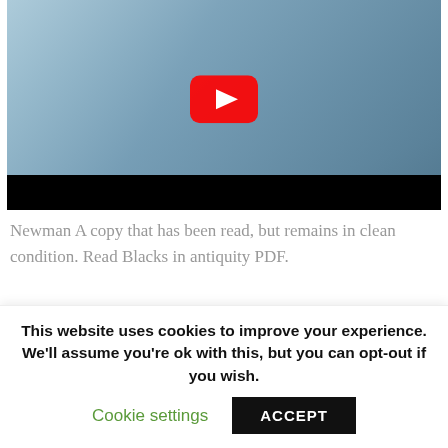[Figure (screenshot): YouTube video thumbnail showing a woman in a lab coat with blue gloves holding something, with a YouTube play button overlay and a black bar at the bottom]
Newman A copy that has been read, but remains in clean condition. Read Blacks in antiquity PDF.
[Figure (screenshot): Second video thumbnail with a dark background and a person's face visible on the left side]
This website uses cookies to improve your experience. We'll assume you're ok with this, but you can opt-out if you wish. Cookie settings ACCEPT